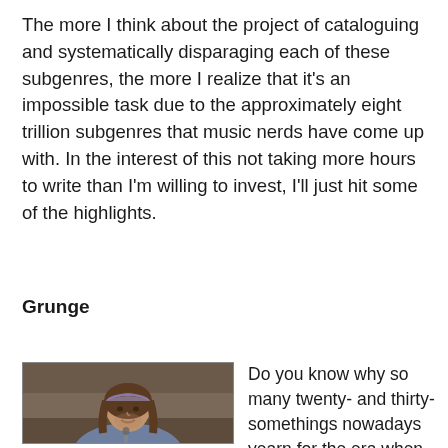The more I think about the project of cataloguing and systematically disparaging each of these subgenres, the more I realize that it's an impossible task due to the approximately eight trillion subgenres that music nerds have come up with. In the interest of this not taking more hours to write than I'm willing to invest, I'll just hit some of the highlights.
Grunge
[Figure (photo): A young man with long hair and a bandana/headband, wearing a denim jacket, smiling slightly — appears to be a grunge-era musician or actor in a TV/film still.]
Do you know why so many twenty- and thirty-somethings nowadays yearn for the era when grunge ruled America? It's because back then it was